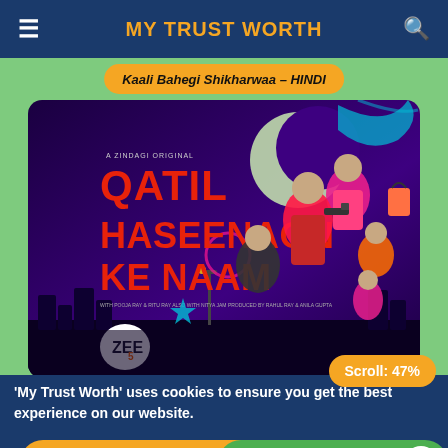MY TRUST WORTH
Kaali Bahegi Shikharwaa - HINDI
[Figure (photo): Movie poster for 'Qatil Haseenaon Ke Naam' - A Zindagi Original on Zee5. Dark purple background with illustrated women characters in colorful dresses.]
Scroll: 47%
'My Trust Worth' uses cookies to ensure you get the best experience on our website.
Okay
More information...